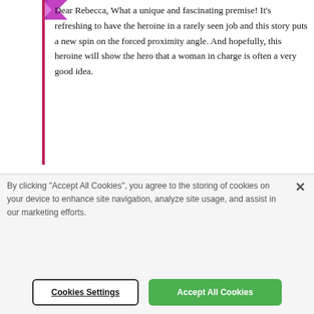[Figure (logo): Small purple/pink avatar or icon in top left area]
Dear Rebecca, What a unique and fascinating premise! It's refreshing to have the heroine in a rarely seen job and this story puts a new spin on the forced proximity angle. And hopefully, this heroine will show the hero that a woman in charge is often a very good idea.
By clicking “Accept All Cookies”, you agree to the storing of cookies on your device to enhance site navigation, analyze site usage, and assist in our marketing efforts.
Cookies Settings
Accept All Cookies